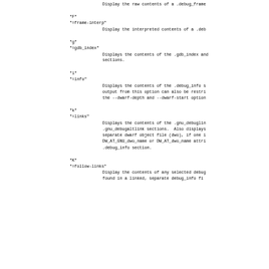"=frames"
    Display the raw contents of a .debug_frame
"F"
"=frame-interp"
    Display the interpreted contents of a .deb
"g"
"=gdb_index"
    Displays the contents of the .gdb_index and
    sections.
"i"
"=info"
    Displays the contents of the .debug_info s
    output from this option can also be restri
    the --dwarf-depth and --dwarf-start option
"k"
"=links"
    Displays the contents of the .gnu_debuglin
    .gnu_debugaltlink sections.  Also displays
    separate dwarf object file (dwo), if one i
    DW_AT_GNU_dwo_name or DW_AT_dwo_name attrr
    .debug_info section.
"K"
"=follow-links"
    Display the contents of any selected debug
    found in a linked, separate debug_info fi